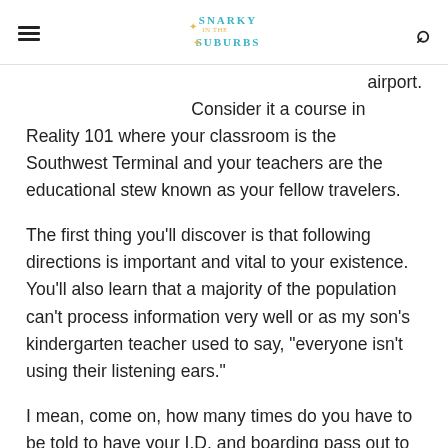Snarky in the Suburbs
airport. Consider it a course in Reality 101 where your classroom is the Southwest Terminal and your teachers are the educational stew known as your fellow travelers.
The first thing you'll discover is that following directions is important and vital to your existence. You'll also learn that a majority of the population can't process information very well or as my son's kindergarten teacher used to say, "everyone isn't using their listening ears."
I mean, come on, how many times do you have to be told to have your I.D. and boarding pass out to go through security? These instructions are not only on a